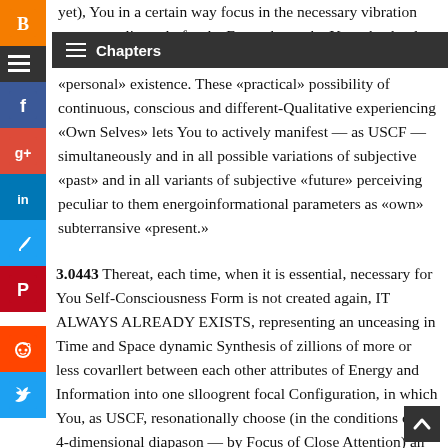yet), You in a certain way focus in the necessary vibration space peculiar only for the Form chosen by You, absolutely fully and concrete experiencing thereat any moment of its «personal» existence. These «practical» possibility of continuous, conscious and different-Qualitative experiencing «Own Selves» lets You to actively manifest — as USCF — simultaneously and in all possible variations of subjective «past» and in all variants of subjective «future» perceiving peculiar to them energoinformational parameters as «own» subterransive «present.»
3.0443 Thereat, each time, when it is essential, necessary for You Self-Consciousness Form is not created again, IT ALWAYS ALREADY EXISTS, representing an unceasing in Time and Space dynamic Synthesis of zillions of more or less covarllert between each other attributes of Energy and Information into one slloogrent focal Configuration, in which You, as USCF, resonationally choose (in the conditions of 3-4-dimensional diapason — by Focus of Close Attention) an interesting for You «part» (Self-Consciousness Form), subjectively experiencing thereat specific Notions about What and Who You are in the given concrete circumstances.